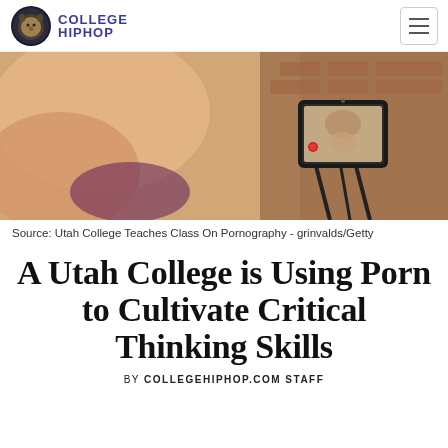COLLEGE HIPHOP
[Figure (photo): A blurred intimate scene with a smartphone on a tripod in the foreground recording; brick wall background.]
Source: Utah College Teaches Class On Pornography - grinvalds/Getty
A Utah College is Using Porn to Cultivate Critical Thinking Skills
BY COLLEGEHIPHOP.COM STAFF